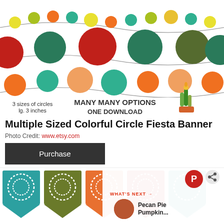[Figure (photo): Colorful circle fiesta banner clipart showing multiple rows of colorful circles (red, teal, olive, orange, yellow, lime, pink) on strings, with text '3 sizes of circles lg. 3 inches', 'MANY MANY OPTIONS', 'ONE DOWNLOAD', and cactus illustrations]
Multiple Sized Colorful Circle Fiesta Banner
Photo Credit: www.etsy.com
Purchase
[Figure (photo): Colorful fiesta banner flags in teal, olive, orange, red, and teal with white mandala patterns, plus a Pinterest 'What's Next' overlay showing Pecan Pie Pumpkin... and share icons]
5 Colors, Six banners, ONE